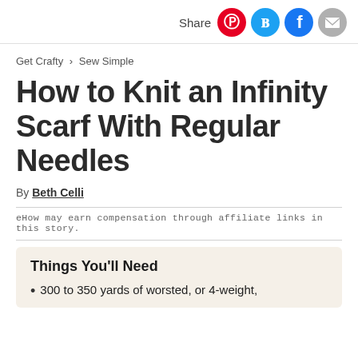Share
Get Crafty > Sew Simple
How to Knit an Infinity Scarf With Regular Needles
By Beth Celli
eHow may earn compensation through affiliate links in this story.
Things You'll Need
300 to 350 yards of worsted, or 4-weight,